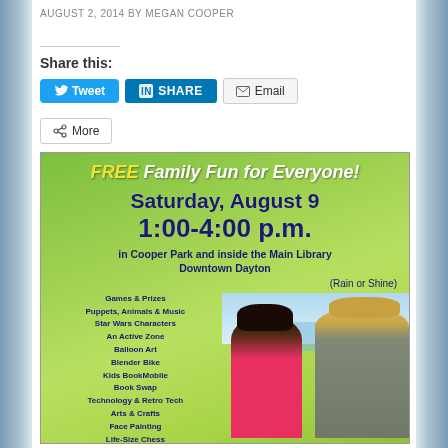AUGUST 2, 2014 BY MEGAN COOPER
Share this:
Tweet  SHARE  Email  More
[Figure (infographic): FREE Family Fun for Everyone! Saturday, August 9 1:00-4:00 p.m. in Cooper Park and inside the Main Library Downtown Dayton (Rain or Shine). List of activities: Games & Prizes, Puppets, Animals & Music, Star Wars Characters, An Active Zone, Balloon Art, Blender Bike, Kids BookMobile, Book Swap, Technology & Retro Tech, Arts & Crafts, Face Painting, Life-Size Chess, Science (Edible) Labs, The Batmobile, Street Performers, Storytimes, History & Genealogy. Photo of people at event.]